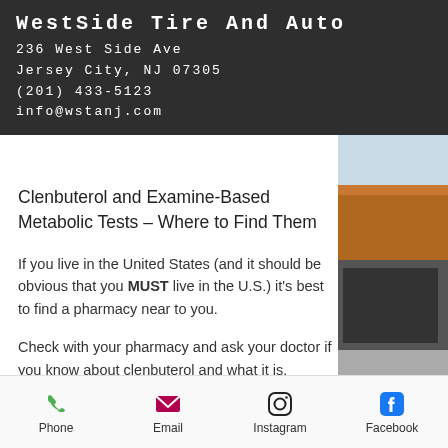WestSide Tire And Auto
236 West Side Ave
Jersey City, NJ 07305
(201) 433-5123
info@wstanj.com
Clenbuterol and Examine-Based Metabolic Tests – Where to Find Them
If you live in the United States (and it should be obvious that you MUST live in the U.S.) it's best to find a pharmacy near to you.
Check with your pharmacy and ask your doctor if you know about clenbuterol and what it is, clenbuterol weight loss results. Often times they will give you a list of drugs to choose from. This list will be a good place to start, unless your doctor doesn't believe
[Figure (photo): Right side photo showing a building with brick/orange facade and parking lot]
Phone  Email  Instagram  Facebook